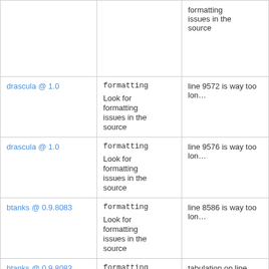| Package | Type | Description |
| --- | --- | --- |
|  | formatting | Look for formatting issues in the source |
| drascula @ 1.0 | formatting | line 9572 is way too lon…
Look for formatting issues in the source |
| drascula @ 1.0 | formatting | line 9576 is way too lon…
Look for formatting issues in the source |
| btanks @ 0.9.8083 | formatting | line 8586 is way too lon…
Look for formatting issues in the source |
| btanks @ 0.9.8083 | formatting | tabulation on line 8611, |